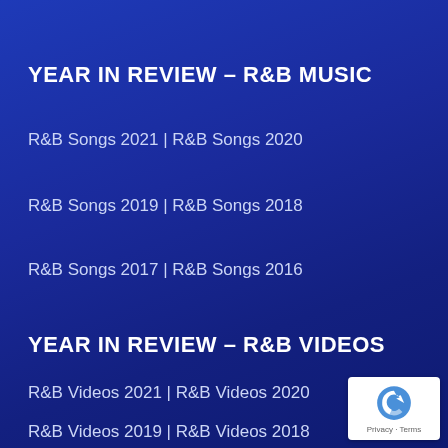YEAR IN REVIEW – R&B MUSIC
R&B Songs 2021 | R&B Songs 2020
R&B Songs 2019 | R&B Songs 2018
R&B Songs 2017 | R&B Songs 2016
YEAR IN REVIEW – R&B VIDEOS
R&B Videos 2021 | R&B Videos 2020
R&B Videos 2019 | R&B Videos 2018